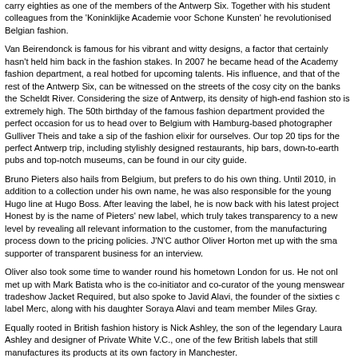carry eighties as one of the members of the Antwerp Six. Together with his student colleagues from the 'Koninklijke Academie voor Schone Kunsten' he revolutionised Belgian fashion.
Van Beirendonck is famous for his vibrant and witty designs, a factor that certainly hasn't held him back in the fashion stakes. In 2007 he became head of the Academy fashion department, a real hotbed for upcoming talents. His influence, and that of the rest of the Antwerp Six, can be witnessed on the streets of the cosy city on the banks the Scheldt River. Considering the size of Antwerp, its density of high-end fashion sto is extremely high. The 50th birthday of the famous fashion department provided the perfect occasion for us to head over to Belgium with Hamburg-based photographer Gulliver Theis and take a sip of the fashion elixir for ourselves. Our top 20 tips for the perfect Antwerp trip, including stylishly designed restaurants, hip bars, down-to-earth pubs and top-notch museums, can be found in our city guide.
Bruno Pieters also hails from Belgium, but prefers to do his own thing. Until 2010, in addition to a collection under his own name, he was also responsible for the young Hugo line at Hugo Boss. After leaving the label, he is now back with his latest project Honest by is the name of Pieters' new label, which truly takes transparency to a new level by revealing all relevant information to the customer, from the manufacturing process down to the pricing policies. J'N'C author Oliver Horton met up with the sma supporter of transparent business for an interview.
Oliver also took some time to wander round his hometown London for us. He not onl met up with Mark Batista who is the co-initiator and co-curator of the young menswear tradeshow Jacket Required, but also spoke to Javid Alavi, the founder of the sixties c label Merc, along with his daughter Soraya Alavi and team member Miles Gray.
Equally rooted in British fashion history is Nick Ashley, the son of the legendary Laura Ashley and designer of Private White V.C., one of the few British labels that still manufactures its products at its own factory in Manchester.
But getting back to the Thames: the fact that some of the most inspiring international store concepts can be found here, is proven beyond a doubt by shops like Couverture The Garbstore. And despite this issue's London bias, we also allowed ourselves to venture further afield to destinations like Hong Kong, Helsinki and Munich.